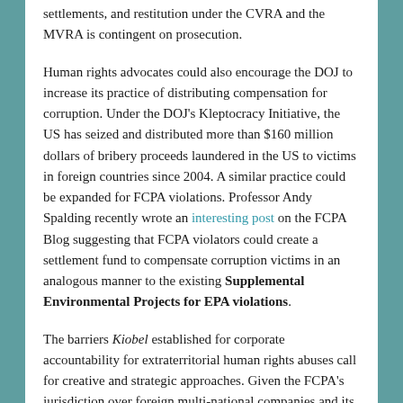settlements, and restitution under the CVRA and the MVRA is contingent on prosecution.
Human rights advocates could also encourage the DOJ to increase its practice of distributing compensation for corruption. Under the DOJ's Kleptocracy Initiative, the US has seized and distributed more than $160 million dollars of bribery proceeds laundered in the US to victims in foreign countries since 2004. A similar practice could be expanded for FCPA violations. Professor Andy Spalding recently wrote an interesting post on the FCPA Blog suggesting that FCPA violators could create a settlement fund to compensate corruption victims in an analogous manner to the existing Supplemental Environmental Projects for EPA violations.
The barriers Kiobel established for corporate accountability for extraterritorial human rights abuses call for creative and strategic approaches. Given the FCPA's jurisdiction over foreign multi-national companies and its governance of extraterritorial conduct and the DOJ and SEC's resources for enforcing expensive cases, human